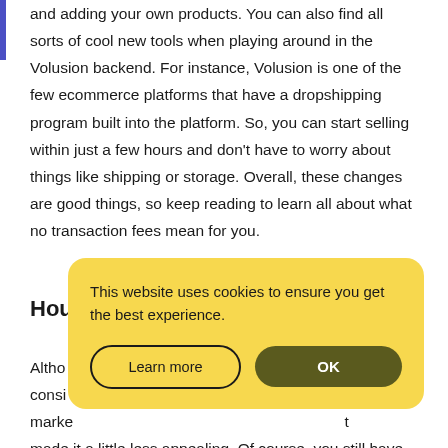and adding your own products. You can also find all sorts of cool new tools when playing around in the Volusion backend. For instance, Volusion is one of the few ecommerce platforms that have a dropshipping program built into the platform. So, you can start selling within just a few hours and don't have to worry about things like shipping or storage. Overall, these changes are good things, so keep reading to learn all about what no transaction fees mean for you.
How
Although ... consider ... marketplace ... that made it a little less appealing. Of course, you still have
[Figure (screenshot): Cookie consent popup with yellow background. Text: 'This website uses cookies to ensure you get the best experience.' Two buttons: 'Learn more' (outlined) and 'OK' (dark olive filled).]